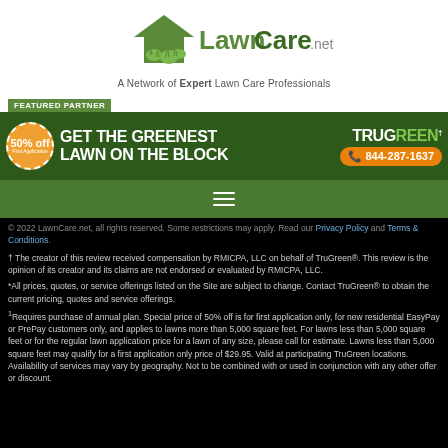[Figure (logo): LawnCare.net logo with green house/grass icon and text. Tagline: A Network of Expert Lawn Care Professionals]
[Figure (infographic): TruGreen featured partner banner: 50% off badge, GET THE GREENEST LAWN ON THE BLOCK, TruGreen logo, phone 844-287-1637]
[Figure (other): Green navigation bar with hamburger menu icon]
© 2022 LawnCare.net, all rights reserved. Some restrictions may apply. Read our Privacy Policy and Terms & Conditions.
† The creator of this review received compensation by RMICPA, LLC on behalf of TruGreen®. This review is the opinion of its creator and its claims are not endorsed or evaluated by RMICPA, LLC.
*All prices, quotes, or service offerings listed on the Site are subject to change. Contact TruGreen® to obtain the current pricing, quotes and service offerings.
1Requires purchase of annual plan. Special price of 50% off is for first application only, for new residential EasyPay or PrePay customers only, and applies to lawns more than 5,000 square feet. For lawns less than 5,000 square feet or for the regular lawn application price for a lawn of any size, please call for estimate. Lawns less than 5,000 square feet may qualify for a first application only price of $29.95. Valid at participating TruGreen locations. Availability of services may vary by geography. Not to be combined with or used in conjunction with any other offer or discount.